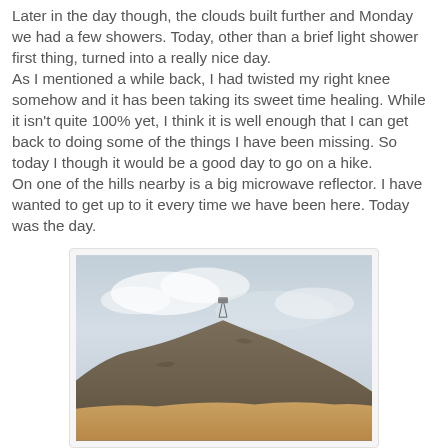Later in the day though, the clouds built further and Monday we had a few showers. Today, other than a brief light shower first thing, turned into a really nice day. As I mentioned a while back, I had twisted my right knee somehow and it has been taking its sweet time healing. While it isn't quite 100% yet, I think it is well enough that I can get back to doing some of the things I have been missing. So today I though it would be a good day to go on a hike. On one of the hills nearby is a big microwave reflector. I have wanted to get up to it every time we have been here. Today was the day.
[Figure (photo): A photograph of a rocky hill with a microwave reflector/tower visible on the summit against a cloudy sky. The foreground shows brown-orange rocky terrain.]